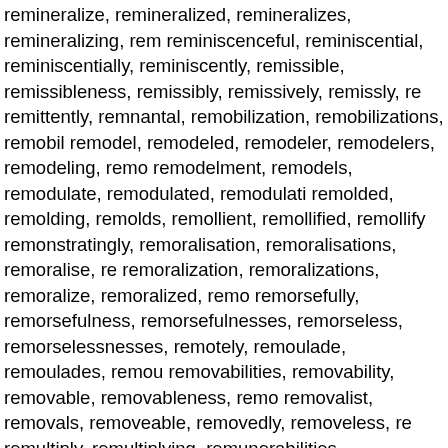remineralize, remineralized, remineralizes, remineralizing, remineralized, reminiscenceful, reminiscential, reminiscentially, reminiscently, remissible, remissibleness, remissibly, remissively, remissly, remittently, remnantal, remobilization, remobilizations, remobilize, remodel, remodeled, remodeler, remodelers, remodeling, remodels, remodelment, remodels, remodulate, remodulated, remodulation, remolded, remolding, remolds, remollient, remollified, remollify, remonstratingly, remoralisation, remoralisations, remoralise, remoralization, remoralizations, remoralize, remoralized, remoralize, remorsefully, remorsefulness, remorsefulnesses, remorseless, remorselessnesses, remotely, remoulade, remoulades, remount, removabilities, removability, removable, removableness, removalist, removals, removeable, removedly, removeless, remultiply, remultiplying, remunerabilities, remunerability, remythologized, remythologizes, remythologizing, renable, renal, renascible, renascibleness, renationalization, renationalize, renationalizes, renationalizing, renculus, renderable, rendibility, renegotiable, reneutralize, reneutralized, reneutralizing, renewables, renewably, renewal, renewals, renewedly, renishly, renointestinal, renopericardial, renopulmonary, renormalized, renormalised, renormalises, renormalising, renormalization, renormalizes, renormalizing, renounceable, renovascular, renownless, rensselaerite, rensselaerites, rentabilities, rentabi, rentallers, rentals, rentless, renule, renullification, renullified, renunculus, reobligate, reobligated, reobligating, reobligation,